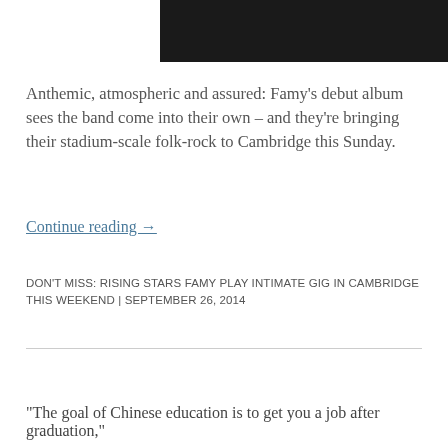[Figure (screenshot): Dark video thumbnail with a play button icon in the top right corner]
Anthemic, atmospheric and assured: Famy's debut album sees the band come into their own – and they're bringing their stadium-scale folk-rock to Cambridge this Sunday.
Continue reading →
DON'T MISS: RISING STARS FAMY PLAY INTIMATE GIG IN CAMBRIDGE THIS WEEKEND | SEPTEMBER 26, 2014
“The goal of Chinese education is to get you a job after graduation,”